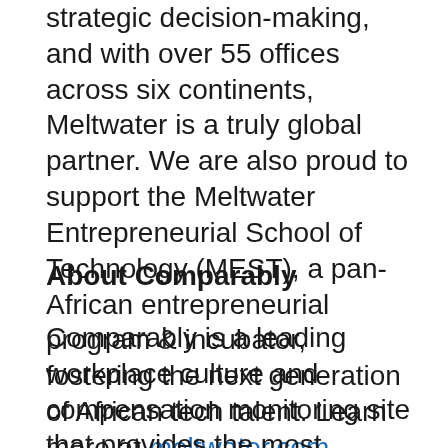strategic decision-making, and with over 55 offices across six continents, Meltwater is a truly global partner. We are also proud to support the Meltwater Entrepreneurial School of Technology (MEST), a pan-African entrepreneurial program & incubator, fostering the next generation of African tech talent. Learn more at meltwater.com.
About Comparably
Comparably is a leading workplace culture and compensation monitoring site that provides the most comprehensive and accurate representation of what it's like to work at companies. Employees can anonymously rate their employers in 20 different workplace culture categories, providing the public a transparent and in-depth look at the experiences workers have based on their gender, ethnicity, age